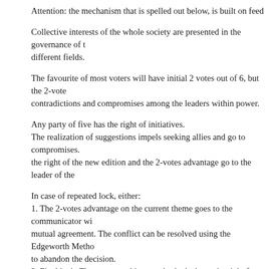Attention: the mechanism that is spelled out below, is built on feed
Collective interests of the whole society are presented in the governance of t different fields.
The favourite of most voters will have initial 2 votes out of 6, but the 2-vote contradictions and compromises among the leaders within power.
Any party of five has the right of initiatives.
The realization of suggestions impels seeking allies and go to compromises. the right of the new edition and the 2-votes advantage go to the leader of the
In case of repeated lock, either:
1. The 2-votes advantage on the current theme goes to the communicator wi mutual agreement. The conflict can be resolved using the Edgeworth Metho to abandon the decision.
2. Final lock. The one provoking regular locks loses the right for initiatives,
The three least parties are not enough in order to take separate initiatives'. O Two- or three party alliance, that exceeded half of all decisions and locks, m contenders from the non-ruling parties.
Only one of them is "the entrance ticket" to the Elections for the ruling party for a trainee to participate as an advisor. The team going to Power for the fi